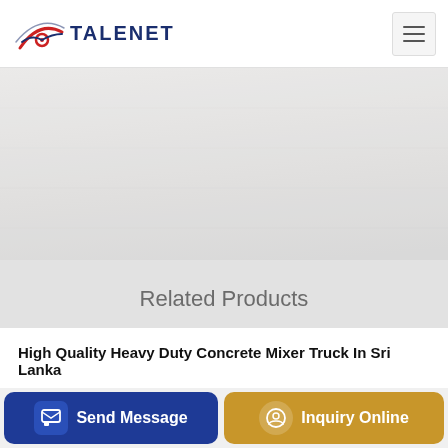TALENET
[Figure (photo): Light gray/white textured background image area, partially visible below header]
Related Products
High Quality Heavy Duty Concrete Mixer Truck In Sri Lanka
FM 3 5-3 Mobile Self-Loading Concrete Mixer Truck for sale
...ement ...f (partially visible)
Send Message
Inquiry Online